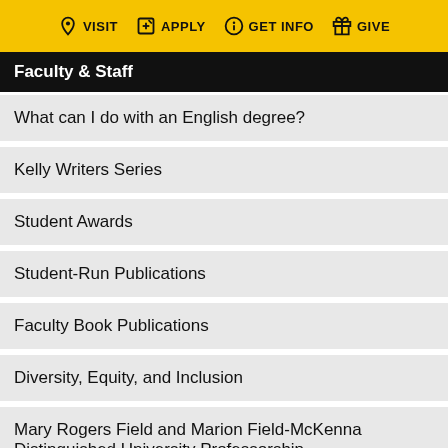VISIT  APPLY  GET INFO  GIVE
Faculty & Staff
What can I do with an English degree?
Kelly Writers Series
Student Awards
Student-Run Publications
Faculty Book Publications
Diversity, Equity, and Inclusion
Mary Rogers Field and Marion Field-McKenna Distinguished University Professorship